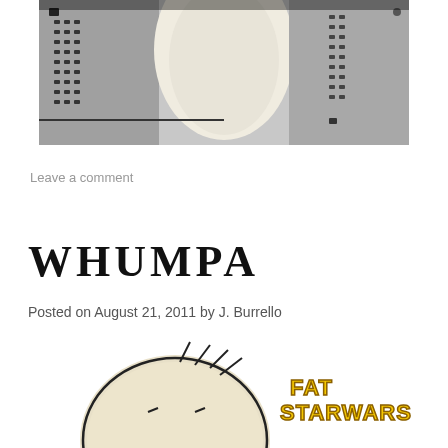[Figure (photo): Black and white photo of what appears to be a person leaning or pressing against a metal grate surface, viewed from above/behind.]
Leave a comment
WHUMPA
Posted on August 21, 2011 by J. Burrello
[Figure (illustration): Comic illustration with a round cartoon character head and 'FAT STAR WARS' text in yellow/orange stylized lettering.]